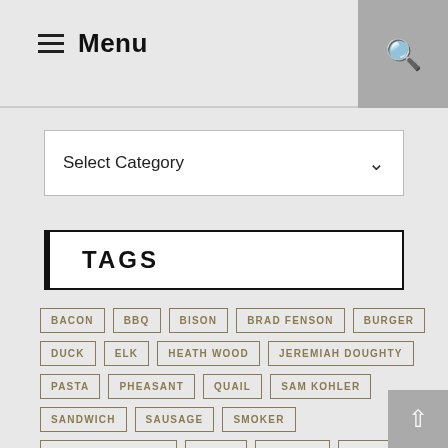Menu
Select Category
TAGS
BACON
BBQ
BISON
BRAD FENSON
BURGER
DUCK
ELK
HEATH WOOD
JEREMIAH DOUGHTY
PASTA
PHEASANT
QUAIL
SAM KOHLER
SANDWICH
SAUSAGE
SMOKER
STACY LYN HARRIS
STEAK
VENISON
WILD BOAR